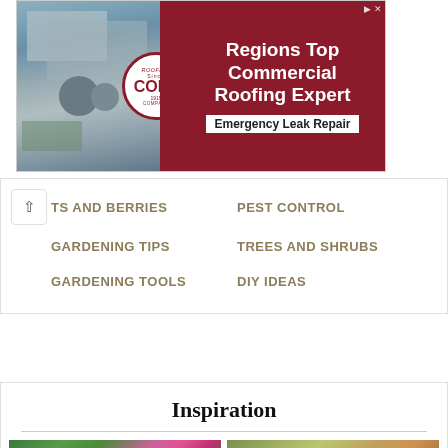[Figure (photo): Cole Roofing Company advertisement banner showing aerial view of building with company badge and text 'Regions Top Commercial Roofing Expert, Emergency Leak Repair']
TS AND BERRIES
PEST CONTROL
GARDENING TIPS
TREES AND SHRUBS
GARDENING TOOLS
DIY IDEAS
Inspiration
[Figure (photo): Garden photo showing pink and magenta flowers (roses/hibiscus) with green trees in background]
[Figure (photo): Close-up photo of tropical/exotic plant with striped green and pink leaves]